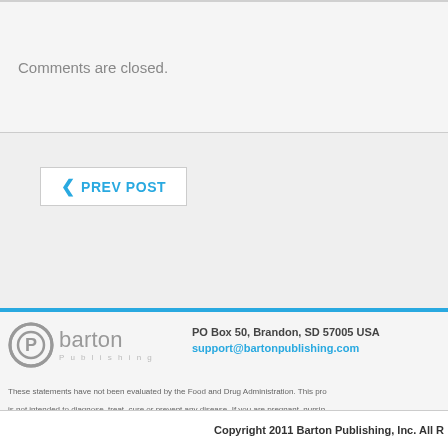Comments are closed.
❮ PREV POST
[Figure (logo): Barton Publishing logo with stylized P in circle and barton Publishing text]
PO Box 50, Brandon, SD 57005 USA
support@bartonpublishing.com
These statements have not been evaluated by the Food and Drug Administration. This product is not intended to diagnose, treat, cure or prevent any disease. If you are pregnant, nursing, taking medication, or have a medical condition, consult your physician before using this product.
Copyright 2011 Barton Publishing, Inc. All Rights Reserved